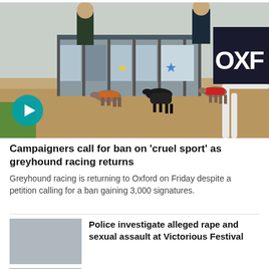[Figure (photo): Greyhound racing starting boxes at Oxford stadium with dogs and handlers, 'OXFO' signage visible, play button overlay]
Campaigners call for ban on 'cruel sport' as greyhound racing returns
Greyhound racing is returning to Oxford on Friday despite a petition calling for a ban gaining 3,000 signatures.
[Figure (photo): Thumbnail image for police investigation article]
Police investigate alleged rape and sexual assault at Victorious Festival